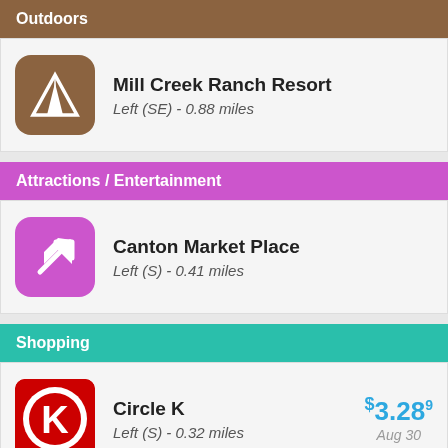Outdoors
Mill Creek Ranch Resort
Left (SE) - 0.88 miles
Attractions / Entertainment
Canton Market Place
Left (S) - 0.41 miles
Shopping
Circle K
Left (S) - 0.32 miles
$3.289
Aug 30